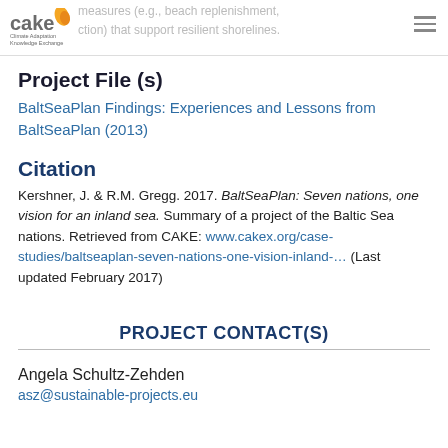measures (e.g., beach replenishment, ction) that support resilient shorelines.
[Figure (logo): CAKE - Climate Adaptation Knowledge Exchange logo with orange flame/leaf icon]
Project File (s)
BaltSeaPlan Findings: Experiences and Lessons from BaltSeaPlan (2013)
Citation
Kershner, J. & R.M. Gregg. 2017. BaltSeaPlan: Seven nations, one vision for an inland sea. Summary of a project of the Baltic Sea nations. Retrieved from CAKE: www.cakex.org/case-studies/baltseaplan-seven-nations-one-vision-inland-... (Last updated February 2017)
PROJECT CONTACT(S)
Angela Schultz-Zehden
asz@sustainable-projects.eu